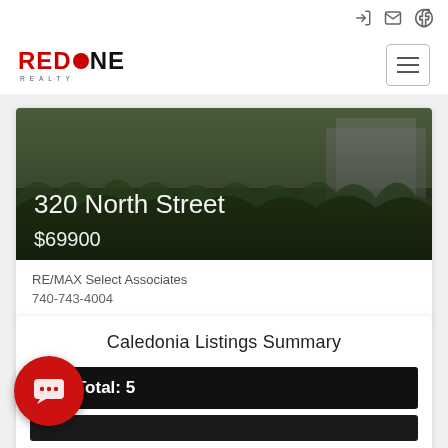RED ONE REALTY — navigation header with icons
[Figure (photo): Outdoor property photo showing overgrown greenery and a structure in background, dark and moody lighting]
320 North Street
$69900
RE/MAX Select Associates
740-743-4004
Caledonia Listings Summary
Total: 5